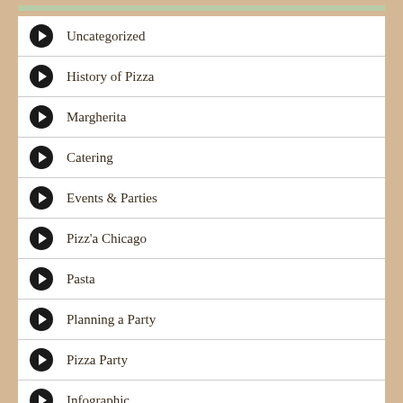Uncategorized
History of Pizza
Margherita
Catering
Events & Parties
Pizz'a Chicago
Pasta
Planning a Party
Pizza Party
Infographic